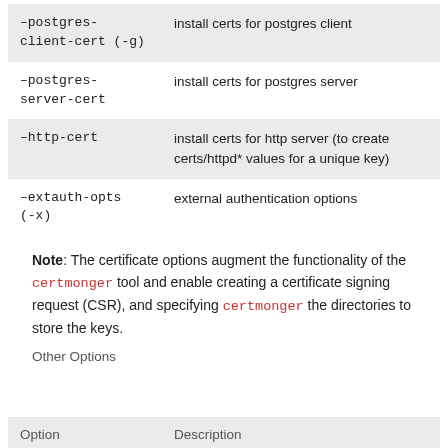| Option | Description |
| --- | --- |
| –postgres-client-cert (-g) | install certs for postgres client |
| –postgres-server-cert | install certs for postgres server |
| –http-cert | install certs for http server (to create certs/httpd* values for a unique key) |
| –extauth-opts (-x) | external authentication options |
Note: The certificate options augment the functionality of the certmonger tool and enable creating a certificate signing request (CSR), and specifying certmonger the directories to store the keys.
Other Options
| Option | Description |
| --- | --- |